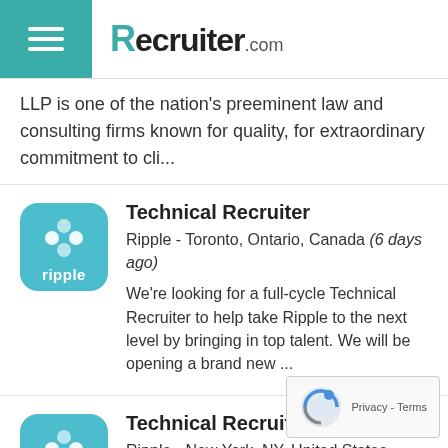Recruiter.com
LLP is one of the nation's preeminent law and consulting firms known for quality, for extraordinary commitment to cli...
Technical Recruiter
Ripple - Toronto, Ontario, Canada (6 days ago)
We're looking for a full-cycle Technical Recruiter to help take Ripple to the next level by bringing in top talent. We will be opening a brand new ...
Technical Recruiter
Ripple - New York, NY, United States ... days ago)